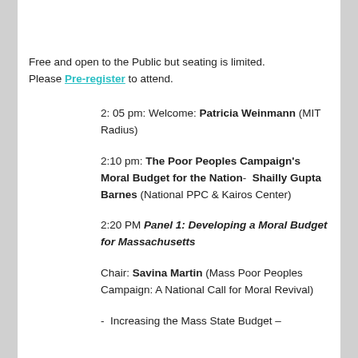Free and open to the Public but seating is limited. Please Pre-register to attend.
2: 05 pm: Welcome: Patricia Weinmann (MIT Radius)
2:10 pm: The Poor Peoples Campaign’s Moral Budget for the Nation- Shailly Gupta Barnes (National PPC & Kairos Center)
2:20 PM Panel 1: Developing a Moral Budget for Massachusetts
Chair: Savina Martin (Mass Poor Peoples Campaign: A National Call for Moral Revival)
-  Increasing the Mass State Budget –